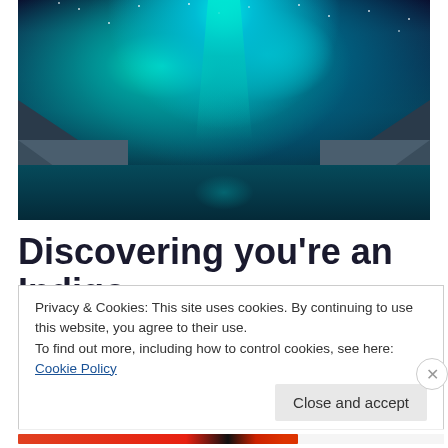[Figure (photo): Aurora borealis (northern lights) over snow-capped mountains reflected in a calm fjord lake, with a vivid teal/cyan aurora beam in the night sky.]
Discovering you're an Indigo
Privacy & Cookies: This site uses cookies. By continuing to use this website, you agree to their use.
To find out more, including how to control cookies, see here: Cookie Policy
Close and accept